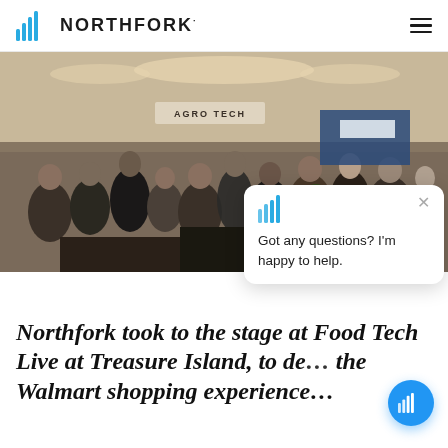NORTHFORK
[Figure (photo): Large conference hall filled with many attendees at what appears to be a food technology trade show event. Booths and signage visible in background including 'AGRO TECH'. A chat widget overlay appears in the lower right area of the photo showing the Northfork logo icon and text 'Got any questions? I'm happy to help.']
Northfork took to the stage at Food Tech Live at Treasure Island, to de… the Walmart shopping experience…